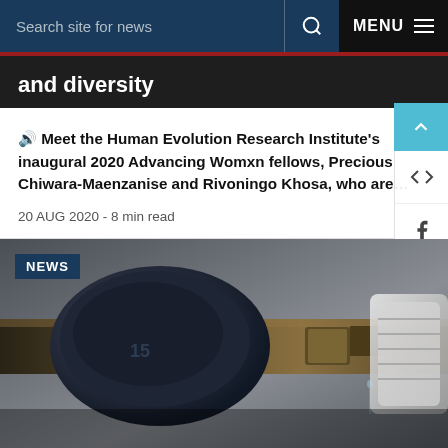Search site for news  MENU
and diversity
🔊 Meet the Human Evolution Research Institute's inaugural 2020 Advancing Womxn fellows, Precious Chiwara-Maenzanise and Rivoningo Khosa, who are…
20 AUG 2020 - 8 min read
[Figure (photo): Close-up photo of an old rusty metal pipe valve dripping water, with a white valve handle visible on the right side. A NEWS badge label in the top-left corner.]